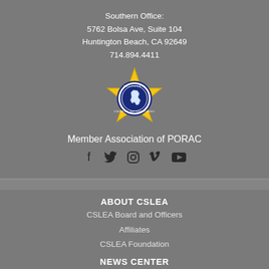Southern Office:
5762 Bolsa Ave, Suite 104
Huntington Beach, CA 92649
714.894.4411
[Figure (logo): PORAC/CSLEA badge logo — gold star badge with California state outline and circular text]
Member Association of PORAC
[Figure (infographic): Social media icons: Facebook, Twitter, Instagram, Vimeo, YouTube]
ABOUT CSLEA
CSLEA Board and Officers
Affiliates
CSLEA Foundation
NEWS CENTER
Monthly Newsletter
Calendar
Videos